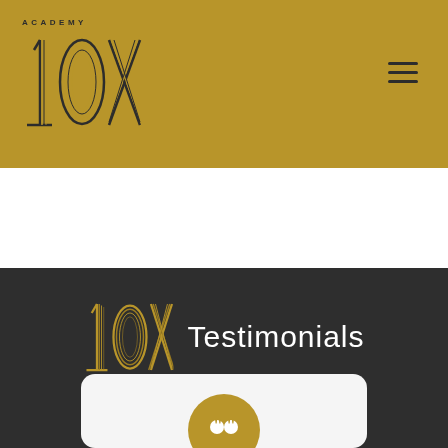[Figure (logo): Academy 10X logo with gold/dark striped lettering on gold background, with hamburger menu icon top right]
10X Testimonials
[Figure (illustration): White card with rounded corners containing a gold circle with white quotation mark icon]